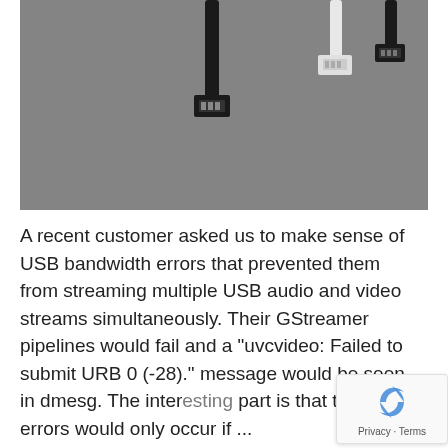[Figure (photo): Photo of USB cables on a gray surface, showing multiple USB connectors (black and white) arranged on a dark gray background, viewed from above.]
A recent customer asked us to make sense of USB bandwidth errors that prevented them from streaming multiple USB audio and video streams simultaneously. Their GStreamer pipelines would fail and a "uvcvideo: Failed to submit URB 0 (-28)." message would be seen in dmesg. The inter part is that the errors would only occur if ...